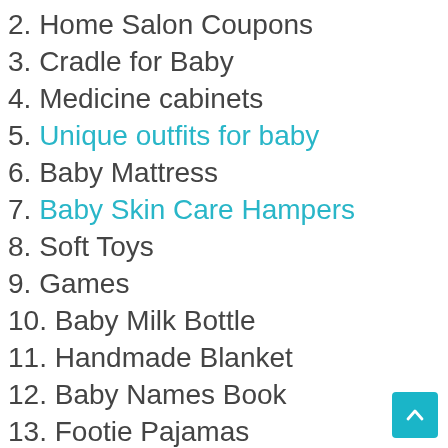2. Home Salon Coupons
3. Cradle for Baby
4. Medicine cabinets
5. Unique outfits for baby
6. Baby Mattress
7. Baby Skin Care Hampers
8. Soft Toys
9. Games
10. Baby Milk Bottle
11. Handmade Blanket
12. Baby Names Book
13. Footie Pajamas
14. Socks and caps